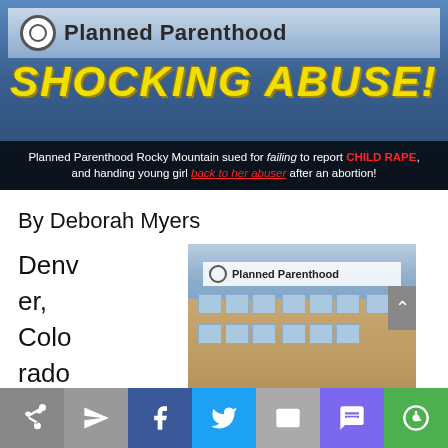[Figure (photo): News article hero banner with Planned Parenthood sign background, yellow 'SHOCKING ABUSE!' headline text, and subtitle about lawsuit]
By Deborah Myers
Denver, Colorado —
[Figure (photo): Photo of a Planned Parenthood building exterior]
Social share bar with share, send, Facebook, Twitter, email, SMS, and circle icons